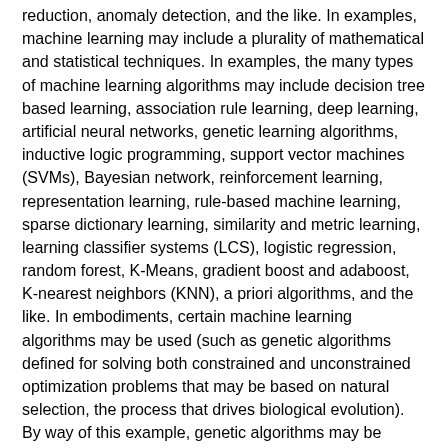reduction, anomaly detection, and the like. In examples, machine learning may include a plurality of mathematical and statistical techniques. In examples, the many types of machine learning algorithms may include decision tree based learning, association rule learning, deep learning, artificial neural networks, genetic learning algorithms, inductive logic programming, support vector machines (SVMs), Bayesian network, reinforcement learning, representation learning, rule-based machine learning, sparse dictionary learning, similarity and metric learning, learning classifier systems (LCS), logistic regression, random forest, K-Means, gradient boost and adaboost, K-nearest neighbors (KNN), a priori algorithms, and the like. In embodiments, certain machine learning algorithms may be used (such as genetic algorithms defined for solving both constrained and unconstrained optimization problems that may be based on natural selection, the process that drives biological evolution). By way of this example, genetic algorithms may be deployed to solve a variety of optimization problems that are not well suited for standard optimization algorithms, including problems in which the objective functions are discontinuous, not differentiable,